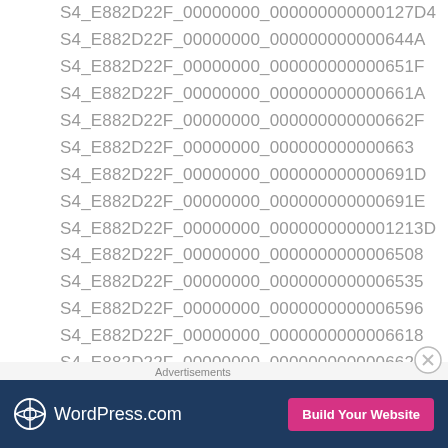S4_E882D22F_00000000_000000000000127D4
S4_E882D22F_00000000_000000000000644A
S4_E882D22F_00000000_000000000000651F
S4_E882D22F_00000000_000000000000661A
S4_E882D22F_00000000_000000000000662F
S4_E882D22F_00000000_000000000000663
S4_E882D22F_00000000_000000000000691D
S4_E882D22F_00000000_000000000000691E
S4_E882D22F_00000000_0000000000001213D
S4_E882D22F_00000000_0000000000006508
S4_E882D22F_00000000_0000000000006535
S4_E882D22F_00000000_0000000000006596
S4_E882D22F_00000000_0000000000006618
S4_E882D22F_00000000_0000000000006622
S4_E882D22F_00000000_0000000000006627
Advertisements
[Figure (other): WordPress.com advertisement banner with logo and 'Build Your Website' button]